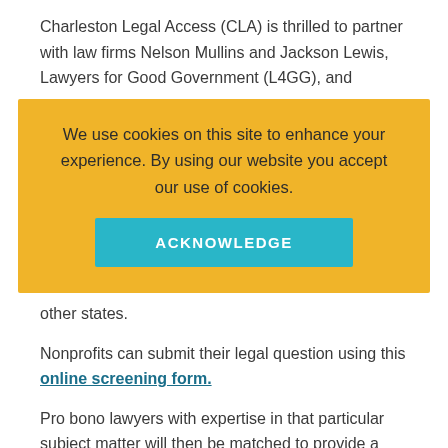Charleston Legal Access (CLA) is thrilled to partner with law firms Nelson Mullins and Jackson Lewis, Lawyers for Good Government (L4GG), and
We use cookies on this site to enhance your experience. By using our website you accept our use of cookies.
ACKNOWLEDGE
other states.
Nonprofits can submit their legal question using this online screening form.
Pro bono lawyers with expertise in that particular subject matter will then be matched to provide a free 45-minute virtual or telephone legal consultation, helping nonprofits navigate the CARES Act, or